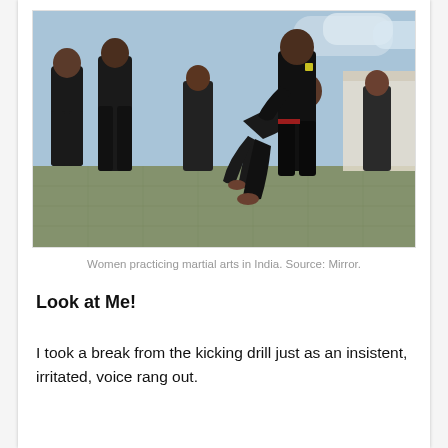[Figure (photo): Women dressed in black clothing practicing martial arts on a rooftop or outdoor ground in India. Several women are shown in various poses; one woman is in a low crouching position while another stands over her.]
Women practicing martial arts in India. Source: Mirror.
Look at Me!
I took a break from the kicking drill just as an insistent, irritated, voice rang out.